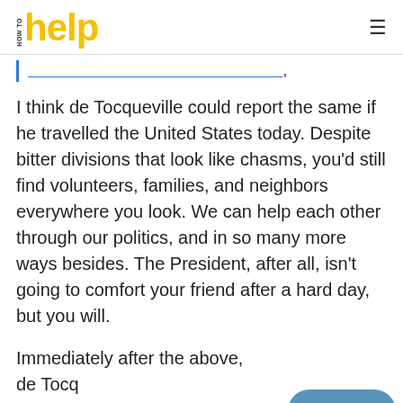HOW TO help
[partially visible blockquote link text]
I think de Tocqueville could report the same if he travelled the United States today. Despite bitter divisions that look like chasms, you'd still find volunteers, families, and neighbors everywhere you look. We can help each other through our politics, and in so many more ways besides. The President, after all, isn't going to comfort your friend after a hard day, but you will.
Immediately after the above, de Tocqueville said:
They found that the world didn't...